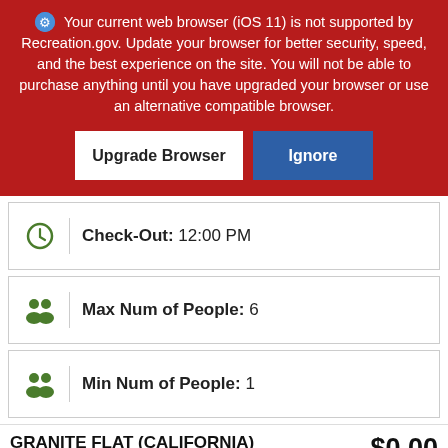Your current web browser (iOS 11) is not supported by Recreation.gov. Update your browser for better security, speed, and the best experience on the site. You will not be able to purchase anything until you have upgraded your browser or use an alternative compatible browser.
Upgrade Browser
Ignore
Check-Out: 12:00 PM
Max Num of People: 6
Min Num of People: 1
GRANITE FLAT (CALIFORNIA)
$0.00
Site 004, Loop AREA GRANITE FLAT (CALIFOR... + Fees & Taxes
Enter Dates